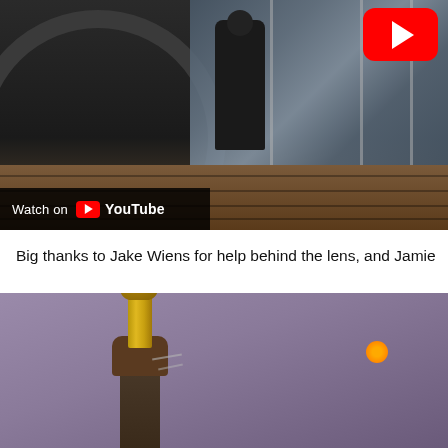[Figure (screenshot): YouTube video thumbnail showing a person walking through glass entrance doors at night, filmed from a low angle. A red YouTube play button logo appears in the upper right corner. At the bottom left a dark overlay bar reads 'Watch on' followed by the YouTube logo.]
Big thanks to Jake Wiens for help behind the lens, and Jamie
[Figure (photo): Photo of a hand holding a gold microphone up against a dusky purple-grey sky, with a small orange orb of light visible in the background.]